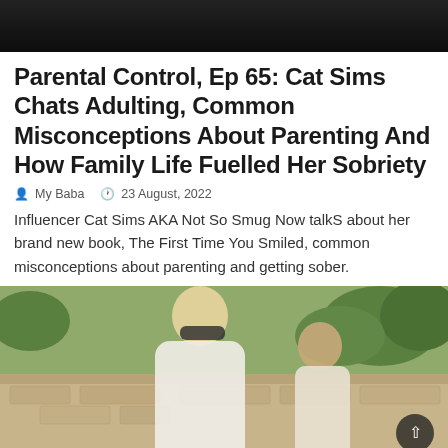[Figure (photo): Top portion of a photo showing a dark background, partial image of a person's clothing]
Parental Control, Ep 65: Cat Sims Chats Adulting, Common Misconceptions About Parenting And How Family Life Fuelled Her Sobriety
My Baba   23 August, 2022
Influencer Cat Sims AKA Not So Smug Now talkS about her brand new book, The First Time You Smiled, common misconceptions about parenting and getting sober.
[Figure (photo): Outdoor photo of a blonde woman wearing sunglasses and a white outfit leaning towards a young boy with dark hair, in a sunny Mediterranean-style setting with stone walls and green trees]